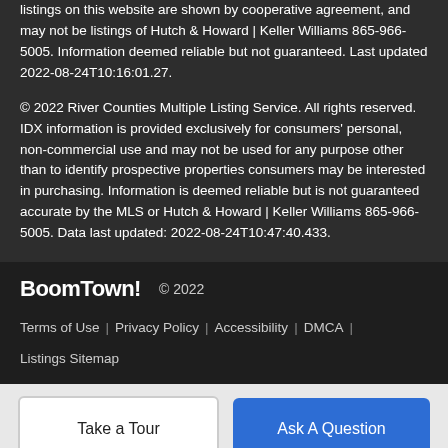listings on this website are shown by cooperative agreement, and may not be listings of Hutch & Howard | Keller Williams 865-966-5005. Information deemed reliable but not guaranteed. Last updated 2022-08-24T10:16:01.27.
© 2022 River Counties Multiple Listing Service. All rights reserved. IDX information is provided exclusively for consumers' personal, non-commercial use and may not be used for any purpose other than to identify prospective properties consumers may be interested in purchasing. Information is deemed reliable but is not guaranteed accurate by the MLS or Hutch & Howard | Keller Williams 865-966-5005. Data last updated: 2022-08-24T10:47:40.433.
BoomTown! © 2022 Terms of Use | Privacy Policy | Accessibility | DMCA | Listings Sitemap
Take a Tour
Ask A Question